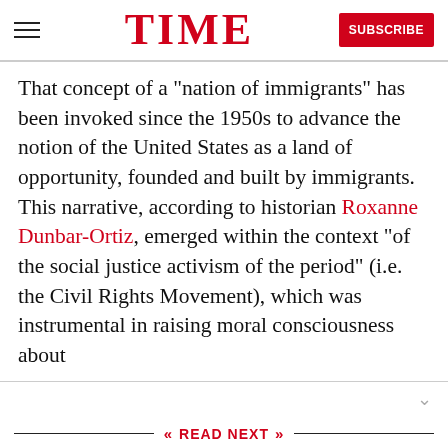TIME | SUBSCRIBE
That concept of a “nation of immigrants” has been invoked since the 1950s to advance the notion of the United States as a land of opportunity, founded and built by immigrants. This narrative, according to historian Roxanne Dunbar-Ortiz, emerged within the context “of the social justice activism of the period” (i.e. the Civil Rights Movement), which was instrumental in raising moral consciousness about
« READ NEXT »
[Figure (photo): Black and white photo of Charles Manson at a jailhouse interview]
See a Rare Outtake from a Charles Manson Jailhouse Interview